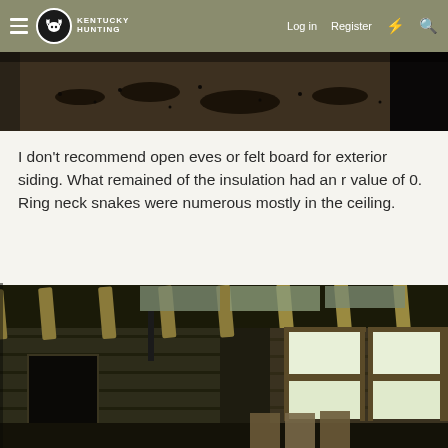Kentucky Hunting | Log in | Register
[Figure (photo): Partial top photo showing dark surface with scattered debris/seeds]
I don't recommend open eves or felt board for exterior siding. What remained of the insulation had an r value of 0. Ring neck snakes were numerous mostly in the ceiling.
[Figure (photo): Interior photo of an old cabin/structure showing exposed rafters and roof decking with insulation, rough log/board walls, a doorway on the left, and windows on the right letting in bright light, with drywall or panel materials on the floor]